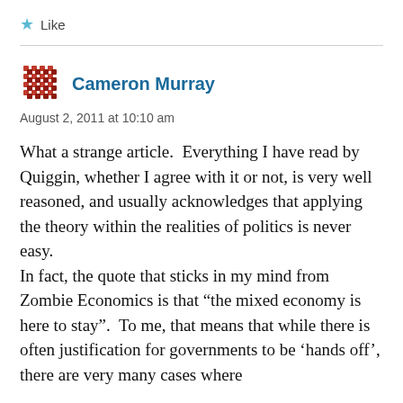Like
Cameron Murray
August 2, 2011 at 10:10 am
What a strange article.  Everything I have read by Quiggin, whether I agree with it or not, is very well reasoned, and usually acknowledges that applying the theory within the realities of politics is never easy.
In fact, the quote that sticks in my mind from Zombie Economics is that “the mixed economy is here to stay”.  To me, that means that while there is often justification for governments to be ‘hands off’, there are very many cases where